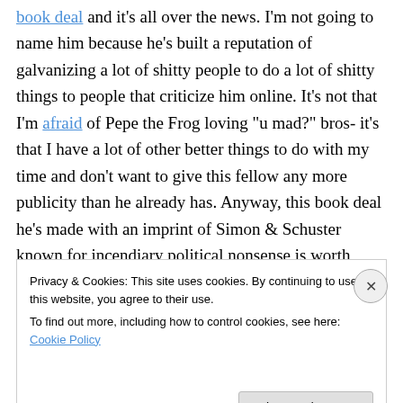book deal and it's all over the news. I'm not going to name him because he's built a reputation of galvanizing a lot of shitty people to do a lot of shitty things to people that criticize him online. It's not that I'm afraid of Pepe the Frog loving "u mad?" bros- it's that I have a lot of other better things to do with my time and don't want to give this fellow any more publicity than he already has. Anyway, this book deal he's made with an imprint of Simon & Schuster known for incendiary political nonsense is worth some money and has led to a lot progressives calling for public shame and a boycott for the publisher. To counter this, the
Privacy & Cookies: This site uses cookies. By continuing to use this website, you agree to their use.
To find out more, including how to control cookies, see here: Cookie Policy